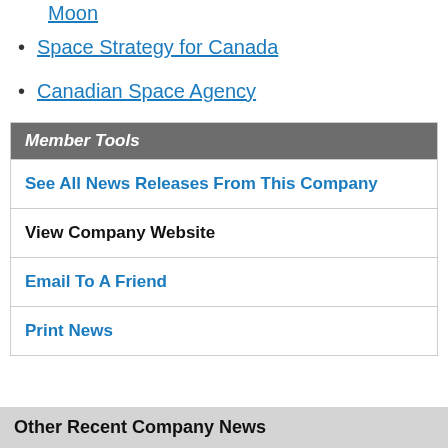The Artemis Missions: Humanity's Return to the Moon
Space Strategy for Canada
Canadian Space Agency
Member Tools
See All News Releases From This Company
View Company Website
Email To A Friend
Print News
Other Recent Company News